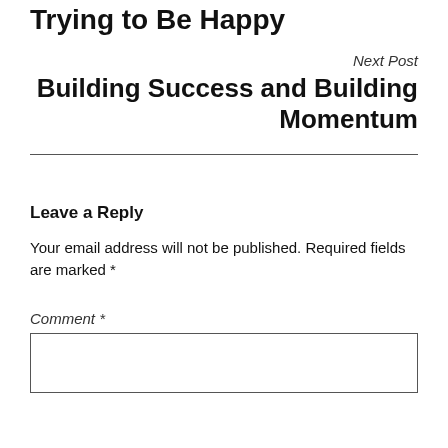Trying to Be Happy
Next Post
Building Success and Building Momentum
Leave a Reply
Your email address will not be published. Required fields are marked *
Comment *